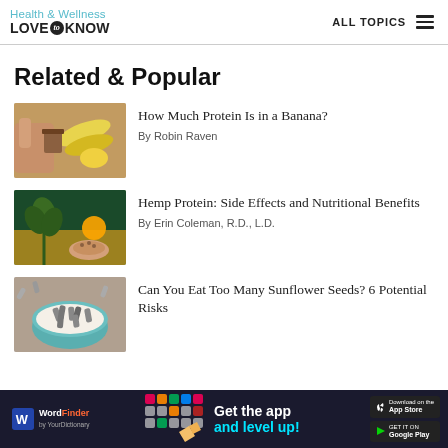Health & Wellness LoveToKnow — ALL TOPICS
Related & Popular
[Figure (photo): Hands arranging food items including bananas and lemons on a cutting board]
How Much Protein Is in a Banana?
By Robin Raven
[Figure (photo): Person holding hemp plant seeds with hemp field and sunset in background]
Hemp Protein: Side Effects and Nutritional Benefits
By Erin Coleman, R.D., L.D.
[Figure (photo): Bowl of sunflower seeds on a surface]
Can You Eat Too Many Sunflower Seeds? 6 Potential Risks
[Figure (infographic): WordFinder ad banner: Get the app and level up! with App Store and Google Play buttons]